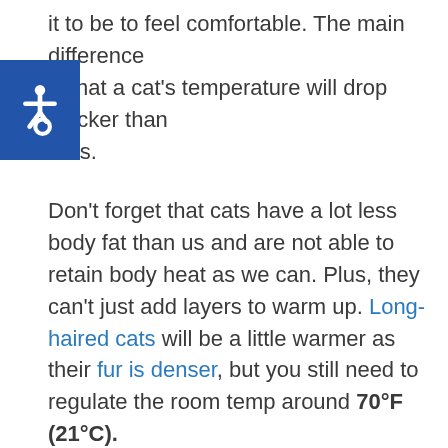it to be to feel comfortable. The main difference is that a cat's temperature will drop quicker than ours.
[Figure (other): Blue square accessibility icon showing a wheelchair symbol in white]
Don't forget that cats have a lot less body fat than us and are not able to retain body heat as we can. Plus, they can't just add layers to warm up. Long-haired cats will be a little warmer as their fur is denser, but you still need to regulate the room temp around 70°F (21°C).